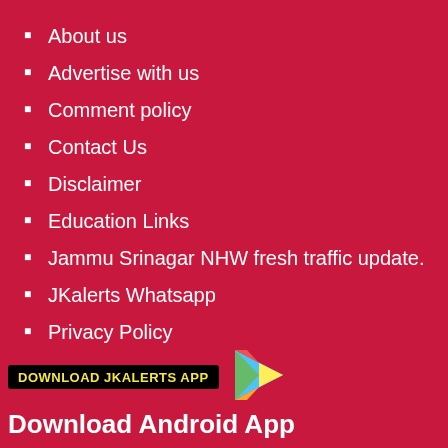About us
Advertise with us
Comment policy
Contact Us
Disclaimer
Education Links
Jammu Srinagar NHW fresh traffic update.
JKalerts Whatsapp
Privacy Policy
Sitemap
Terms of use
[Figure (logo): Download JKAlerts App banner with Google Play icon and text 'Download Android App']